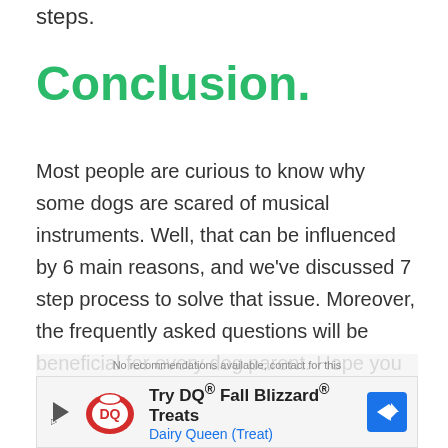steps.
Conclusion.
Most people are curious to know why some dogs are scared of musical instruments. Well, that can be influenced by 6 main reasons, and we've discussed 7 step process to solve that issue. Moreover, the frequently asked questions will be beneficial for every dog parent. Hope you found this helpful.
[Figure (other): Dairy Queen advertisement banner: Try DQ® Fall Blizzard® Treats - Dairy Queen (Treat)]